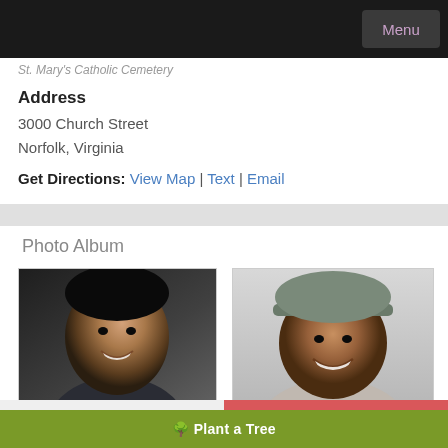Menu
St. Mary's Catholic Cemetery
Address
3000 Church Street
Norfolk, Virginia
Get Directions: View Map | Text | Email
Photo Album
[Figure (photo): Portrait of a young man smiling, dark clothing, dark background]
[Figure (photo): Portrait of a young man smiling, wearing a grey cap, light background]
Share a memory
Send Flowers
Plant a Tree